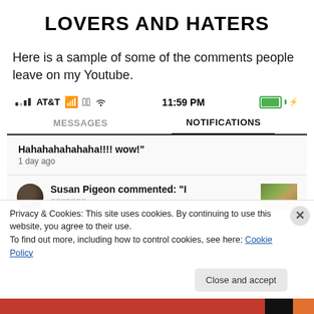LOVERS AND HATERS
Here is a sample of some of the comments people leave on my Youtube.
[Figure (screenshot): Mobile phone screenshot showing YouTube notifications. Status bar shows AT&T, 11:59 PM, full battery. Tabs: MESSAGES and NOTIFICATIONS (active). Notification: 'Hahahahahahaha!!!! wow!' 1 day ago. Partial notification: Susan Pigeon commented: "I"]
Privacy & Cookies: This site uses cookies. By continuing to use this website, you agree to their use.
To find out more, including how to control cookies, see here: Cookie Policy
Close and accept